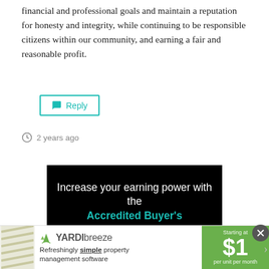financial and professional goals and maintain a reputation for honesty and integrity, while continuing to be responsible citizens within our community, and earning a fair and reasonable profit.
Reply
2 years ago
[Figure (other): Advertisement banner with black background reading 'Increase your earning power with the Accredited Buyer's' in white and teal text]
[Figure (other): Yardi Breeze advertisement banner: 'Refreshingly simple property management software. Starting at $1 per unit per month']